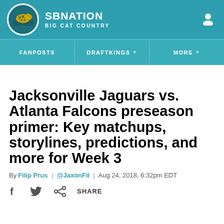SB NATION | BIG CAT COUNTRY
FANPOSTS | DRAFTKINGS | MORE
Jacksonville Jaguars vs. Atlanta Falcons preseason primer: Key matchups, storylines, predictions, and more for Week 3
By Filip Prus | @JaxonFil | Aug 24, 2018, 6:32pm EDT